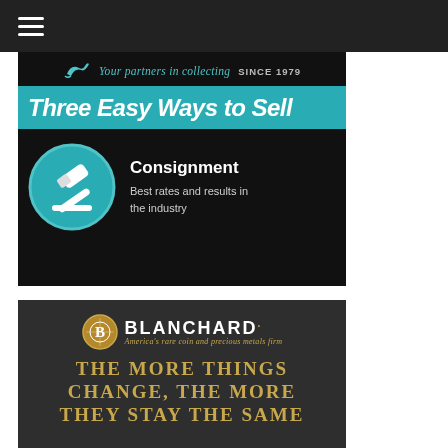☰
[Figure (infographic): Stack Media Labs advertisement: 'Three Easy Ways to Sell' with a teal banner heading, gavel icon in a teal circle, and text 'Consignment — Best rates and results in the industry'. Header includes dolphin logo, script 'Your partners in collecting SINCE 1979'.]
[Figure (infographic): Blanchard advertisement with gold B logo, 'America's rare coin and precious metals firm' tagline, and large text 'THE MORE THINGS CHANGE, THE MORE THEY STAY THE SAME' in gold serif letters on dark textured background.]